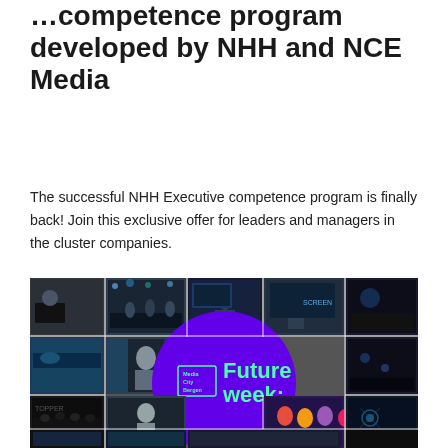…competence program developed by NHH and NCE Media
The successful NHH Executive competence program is finally back! Join this exclusive offer for leaders and managers in the cluster companies.
[Figure (photo): Photo collage of conference/event imagery with a purple circle overlay featuring the Media City Bergen 'Future week:' branding in green text]